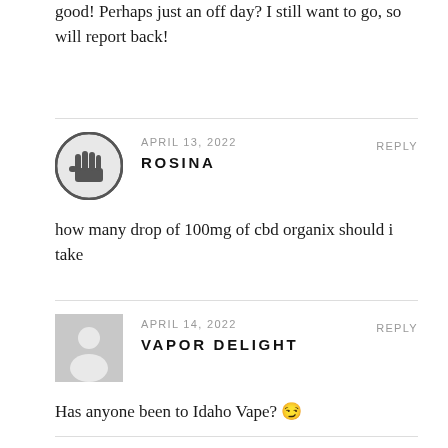good! Perhaps just an off day? I still want to go, so will report back!
APRIL 13, 2022   REPLY
ROSINA
how many drop of 100mg of cbd organix should i take
APRIL 14, 2022   REPLY
VAPOR DELIGHT
Has anyone been to Idaho Vape? 😉